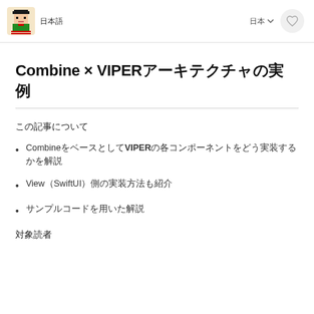日本語
Combine × VIPERアーキテクチャの実例
この記事について
CombineをベースとしてVIPERの各コンポーネントをどう実装するかを解説
View（SwiftUI）側の実装方法も紹介
サンプルコードを用いた解説
対象読者